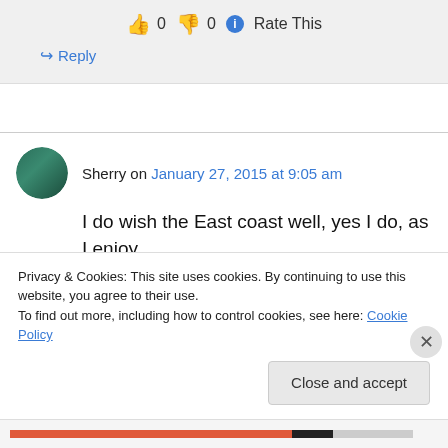👍 0 👎 0 ℹ Rate This
↪ Reply
Sherry on January 27, 2015 at 9:05 am
I do wish the East coast well, yes I do, as I enjoy
Privacy & Cookies: This site uses cookies. By continuing to use this website, you agree to their use.
To find out more, including how to control cookies, see here: Cookie Policy
Close and accept